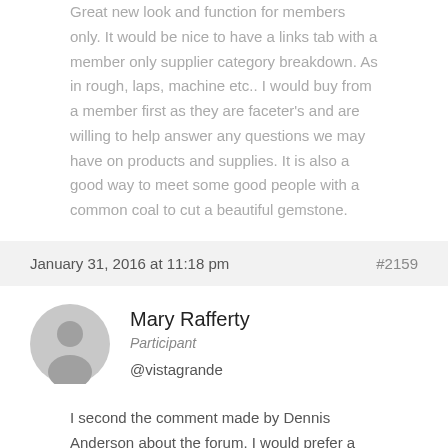Great new look and function for members only. It would be nice to have a links tab with a member only supplier category breakdown. As in rough, laps, machine etc.. I would buy from a member first as they are faceter's and are willing to help answer any questions we may have on products and supplies. It is also a good way to meet some good people with a common coal to cut a beautiful gemstone.
January 31, 2016 at 11:18 pm   #2159
Mary Rafferty
Participant
@vistagrande
I second the comment made by Dennis Anderson about the forum. I would prefer a full functioning